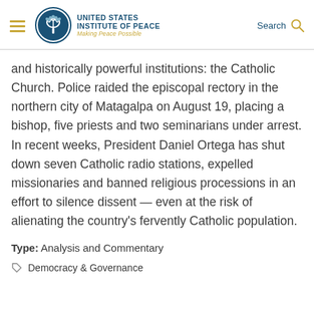United States Institute of Peace — Making Peace Possible
and historically powerful institutions: the Catholic Church. Police raided the episcopal rectory in the northern city of Matagalpa on August 19, placing a bishop, five priests and two seminarians under arrest. In recent weeks, President Daniel Ortega has shut down seven Catholic radio stations, expelled missionaries and banned religious processions in an effort to silence dissent — even at the risk of alienating the country's fervently Catholic population.
Type: Analysis and Commentary
Democracy & Governance